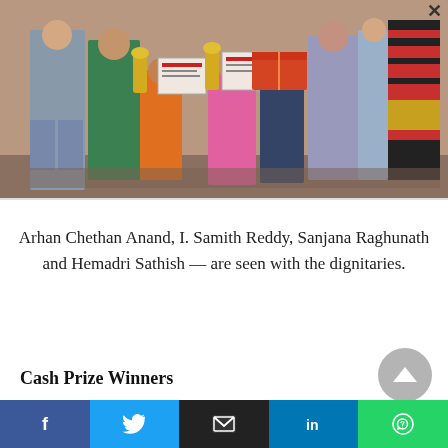[Figure (photo): Group photo of children holding trophies and certificates with adult dignitaries at an awards ceremony. Children in colorful clothes hold golden trophies and framed certificates. Adults stand on either side.]
Arhan Chethan Anand, I. Samith Reddy, Sanjana Raghunath and Hemadri Sathish — are seen with the dignitaries.
Cash Prize Winners
[Figure (other): Social media share buttons: Facebook, Twitter, Email, LinkedIn, WhatsApp]